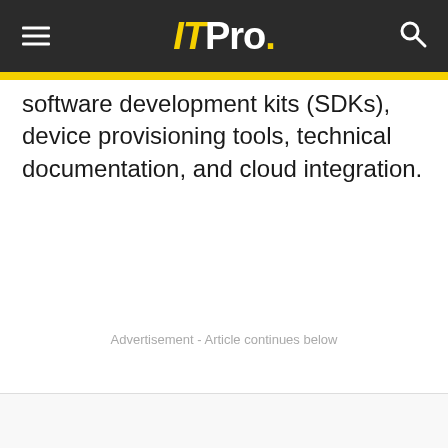ITPro.
software development kits (SDKs), device provisioning tools, technical documentation, and cloud integration.
Advertisement - Article continues below